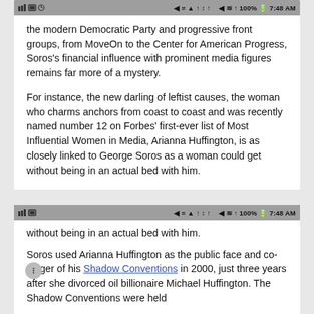[Figure (screenshot): Mobile phone screenshot showing status bar with icons and time 7:48 AM at top]
the modern Democratic Party and progressive front groups, from MoveOn to the Center for American Progress, Soros's financial influence with prominent media figures remains far more of a mystery.
For instance, the new darling of leftist causes, the woman who charms anchors from coast to coast and was recently named number 12 on Forbes' first-ever list of Most Influential Women in Media, Arianna Huffington, is as closely linked to George Soros as a woman could get without being in an actual bed with him.
Soros used Arianna Huffington as the public face and co-stager of his Shadow Conventions in 2000, just three years after she divorced oil billionaire Michael Huffington. The Shadow Conventions were held simultaneously with, and in the same
[Figure (screenshot): Second mobile phone screenshot showing status bar with icons and time 7:48 AM]
without being in an actual bed with him.
Soros used Arianna Huffington as the public face and co-stager of his Shadow Conventions in 2000, just three years after she divorced oil billionaire Michael Huffington. The Shadow Conventions were held